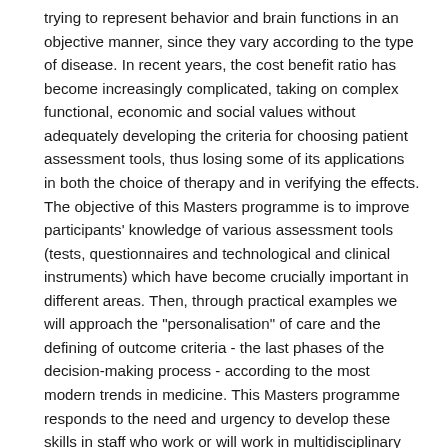trying to represent behavior and brain functions in an objective manner, since they vary according to the type of disease. In recent years, the cost benefit ratio has become increasingly complicated, taking on complex functional, economic and social values without adequately developing the criteria for choosing patient assessment tools, thus losing some of its applications in both the choice of therapy and in verifying the effects. The objective of this Masters programme is to improve participants' knowledge of various assessment tools (tests, questionnaires and technological and clinical instruments) which have become crucially important in different areas. Then, through practical examples we will approach the "personalisation" of care and the defining of outcome criteria - the last phases of the decision-making process - according to the most modern trends in medicine. This Masters programme responds to the need and urgency to develop these skills in staff who work or will work in multidisciplinary fields for outlying medical-surgical treatments such as brain tumors, epilepsy and movement disorders.